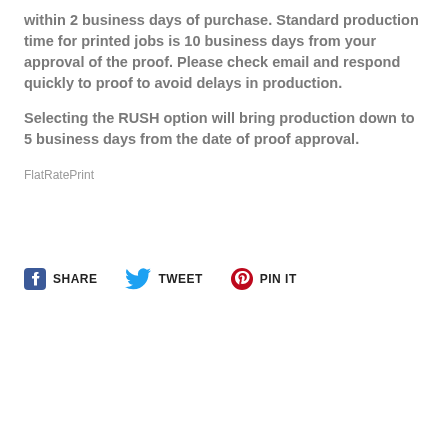within 2 business days of purchase. Standard production time for printed jobs is 10 business days from your approval of the proof. Please check email and respond quickly to proof to avoid delays in production.
Selecting the RUSH option will bring production down to 5 business days from the date of proof approval.
FlatRatePrint
[Figure (other): Social sharing buttons: Facebook SHARE, Twitter TWEET, Pinterest PIN IT]